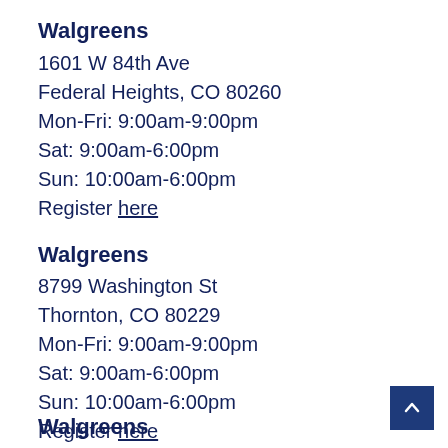Walgreens
1601 W 84th Ave
Federal Heights, CO 80260
Mon-Fri: 9:00am-9:00pm
Sat: 9:00am-6:00pm
Sun: 10:00am-6:00pm
Register here
Walgreens
8799 Washington St
Thornton, CO 80229
Mon-Fri: 9:00am-9:00pm
Sat: 9:00am-6:00pm
Sun: 10:00am-6:00pm
Register here
Walgreens